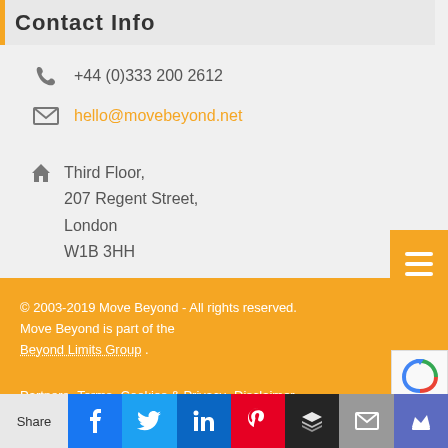Contact Info
+44 (0)333 200 2612
hello@movebeyond.net
Third Floor,
207 Regent Street,
London
W1B 3HH
© 2003-2019 Move Beyond - All rights reserved. Move Beyond is part of the Beyond Limits Group .
Partners  Terms  Cookies & Privacy  Disclaimer
Share